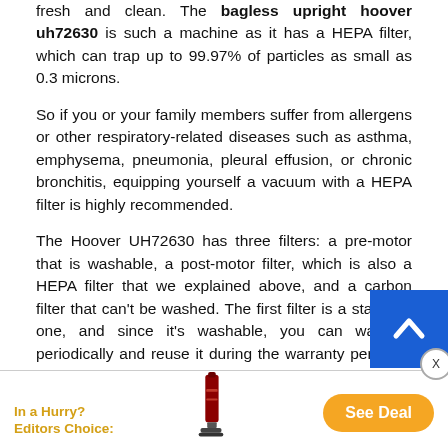fresh and clean. The bagless upright hoover uh72630 is such a machine as it has a HEPA filter, which can trap up to 99.97% of particles as small as 0.3 microns.
So if you or your family members suffer from allergens or other respiratory-related diseases such as asthma, emphysema, pneumonia, pleural effusion, or chronic bronchitis, equipping yourself a vacuum with a HEPA filter is highly recommended.
The Hoover UH72630 has three filters: a pre-motor that is washable, a post-motor filter, which is also a HEPA filter that we explained above, and a carbon filter that can't be washed. The first filter is a standard one, and since it's washable, you can wash it periodically and reuse it during the warranty period of this vacuum, which is five years.
[Figure (other): Scroll-to-top button: blue square with white up-arrow chevron]
[Figure (other): Bottom promotional bar: 'In a Hurry? Editors Choice:' in gold text, image of a red upright vacuum cleaner, and an orange 'See Deal' pill button. An X close button is in the top-right corner.]